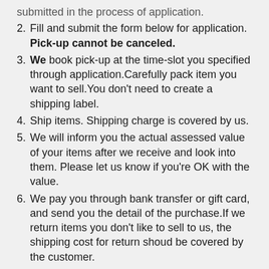submitted in the process of application.
Fill and submit the form below for application. Pick-up cannot be canceled.
We book pick-up at the time-slot you specified through application.Carefully pack item you want to sell.You don't need to create a shipping label.
Ship items. Shipping charge is covered by us.
We will inform you the actual assessed value of your items after we receive and look into them. Please let us know if you're OK with the value.
We pay you through bank transfer or gift card, and send you the detail of the purchase.If we return items you don't like to sell to us, the shipping cost for return shoud be covered by the customer.
Please note that we don't hold products until payment complete.
Second-hand purchase application